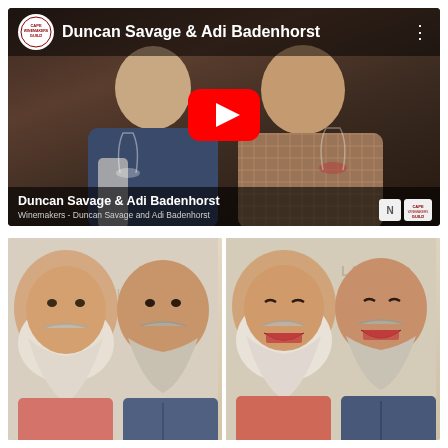[Figure (screenshot): YouTube video thumbnail showing two men holding wine glasses against a dark wood panel background. Top bar shows Cape Winemakers Guild logo and title 'Duncan Savage & Adi Badenhorst'. Large red YouTube play button in center. Bottom overlay shows names 'Duncan Savage & Adi Badenhorst' and subtitle 'Winemakers - Duncan Savage and Adi Badenhorst' with logos at right.]
[Figure (photo): Photo strip showing two side-by-side photos (or the same photo repeated twice), each containing two men — one with a large white beard and one with a shorter beard — appearing to be laughing and talking, with signage reading 'LABEL', 'GOLD' and similar text in the background.]